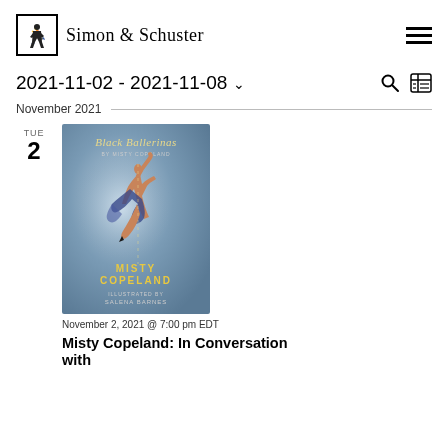Simon & Schuster
2021-11-02 - 2021-11-08 ˅
November 2021
TUE
2
[Figure (photo): Book cover of 'Black Ballerinas' by Misty Copeland, illustrated by Salena Barnes, showing a Black ballerina dancing against a blue-grey background]
November 2, 2021 @ 7:00 pm EDT
Misty Copeland: In Conversation with